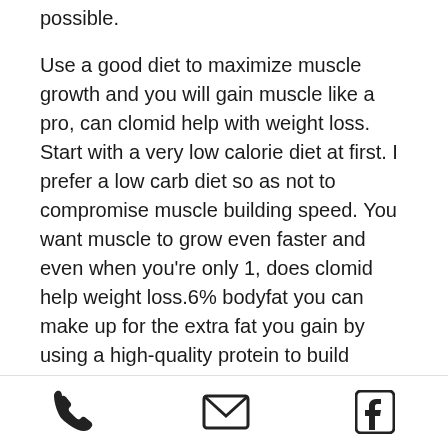possible.
Use a good diet to maximize muscle growth and you will gain muscle like a pro, can clomid help with weight loss. Start with a very low calorie diet at first. I prefer a low carb diet so as not to compromise muscle building speed. You want muscle to grow even faster and even when you're only 1, does clomid help weight loss.6% bodyfat you can make up for the extra fat you gain by using a high-quality protein to build muscle, does clomid help weight loss. I have done both, weight loss using clenbuterol. I prefer high quality protein in it to lose fat. I can't see that going under 100 grams a day as this will hurt your recovery rate on steroids and you may not gain anything because of it, can clomid help with weight loss. My advice is to keep the carb and fat to around 50% and
phone | email | facebook